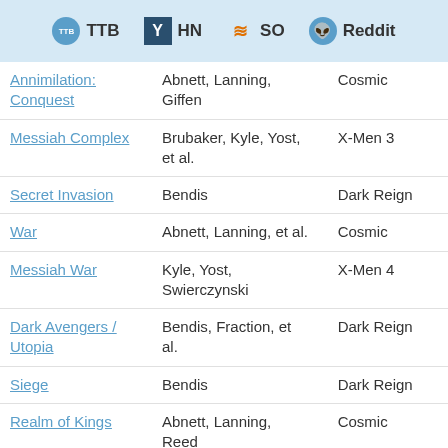TTB  HN  SO  Reddit
| Title | Authors | Category |
| --- | --- | --- |
| Annimilation: Conquest | Abnett, Lanning, Giffen | Cosmic |
| Messiah Complex | Brubaker, Kyle, Yost, et al. | X-Men 3 |
| Secret Invasion | Bendis | Dark Reign |
| War | Abnett, Lanning, et al. | Cosmic |
| Messiah War | Kyle, Yost, Swierczynski | X-Men 4 |
| Dark Avengers / Utopia | Bendis, Fraction, et al. | Dark Reign |
| Siege | Bendis | Dark Reign |
| Realm of Kings | Abnett, Lanning, Reed | Cosmic |
| Second Coming | Kyle, Yost, Fraction, et al. | X-Men 5 |
| Fear Itself | Matt Fraction |  |
|  | Jason Aaron, Kieron |  |